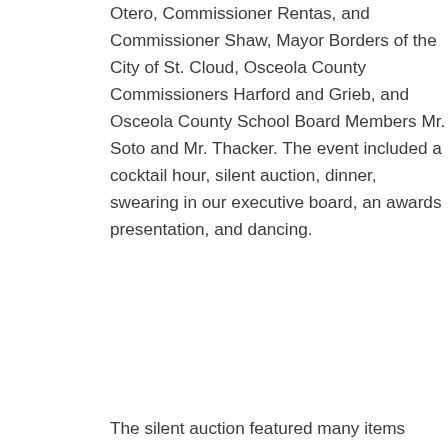Otero, Commissioner Rentas, and Commissioner Shaw, Mayor Borders of the City of St. Cloud, Osceola County Commissioners Harford and Grieb, and Osceola County School Board Members Mr. Soto and Mr. Thacker. The event included a cocktail hour, silent auction, dinner, swearing in our executive board, an awards presentation, and dancing.
The silent auction featured many items donated from local businesses throughout Osceola County. A special thanks goes out to the Kissimmee/Osceola County Chamber of Commerce for acquiring many of the auction items for our silent auction. Our highest valued auction item was an art piece donated by the Draper Law Office. The piece, drawn by the Honorable Carol E. Draper, fetched $750. Other high priced auction items included a framed photograph of the Osceola County Historic Courthouse, a two night staycation at an All Star Vacation Condo, golf packages, and tickets to many of our local attractions including Wild Florida